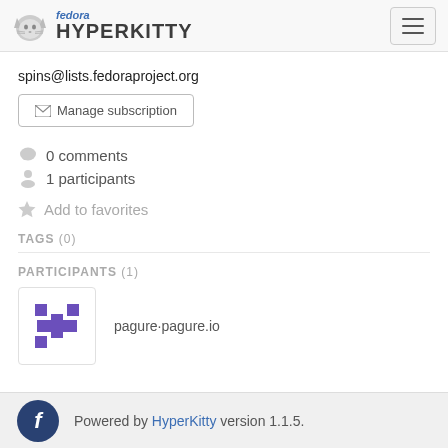fedora HYPERKITTY
spins@lists.fedoraproject.org
Manage subscription
0 comments
1 participants
Add to favorites
TAGS (0)
PARTICIPANTS (1)
[Figure (logo): Pagure avatar: purple pixel-art cross/plus logo on white background]
pagure∙pagure.io
Powered by HyperKitty version 1.1.5.